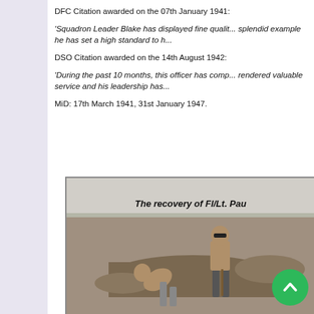DFC Citation awarded on the 07th January 1941:
'Squadron Leader Blake has displayed fine qualities of leadership and by his splendid example he has set a high standard to h...
DSO Citation awarded on the 14th August 1942:
'During the past 10 months, this officer has completed... rendered valuable service and his leadership has...
MiD: 17th March 1941, 31st January 1947.
[Figure (photo): Black and white photograph of two men digging or excavating in a field. One man is shirtless and appears to be shoveling. Caption reads 'The recovery of Fl/Lt. Pau...']